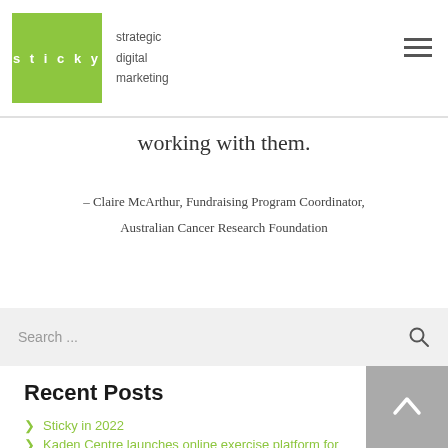[Figure (logo): Sticky strategic digital marketing logo — green square with white 'sticky' text, and brand text to the right]
working with them.
– Claire McArthur, Fundraising Program Coordinator, Australian Cancer Research Foundation
Search ...
Recent Posts
Sticky in 2022
Kaden Centre launches online exercise platform for cancer patients